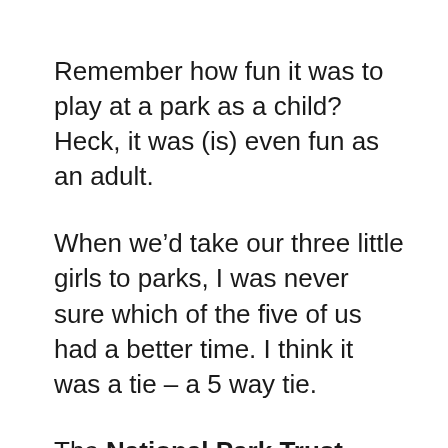Remember how fun it was to play at a park as a child? Heck, it was (is) even fun as an adult.
When we’d take our three little girls to parks, I was never sure which of the five of us had a better time. I think it was a tie – a 5 way tie.
The National Park Trust organizes a nationwide day of outdoor play to encourage children across the country to